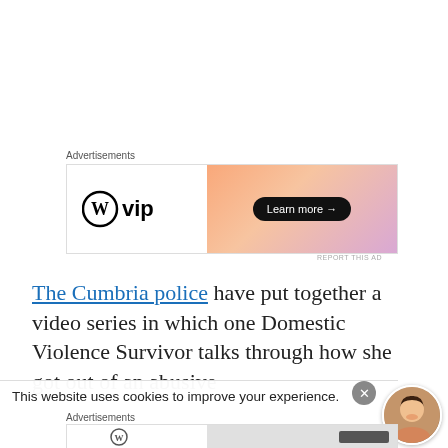Advertisements
[Figure (screenshot): WordPress VIP advertisement banner with logo on left and orange/pink gradient on right with 'Learn more →' button]
REPORT THIS AD
The Cumbria police have put together a video series in which one Domestic Violence Survivor talks through how she got out of an abusive
This website uses cookies to improve your experience.
Advertisements